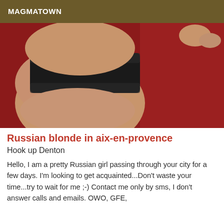MAGMATOWN
[Figure (photo): Close-up photo of a woman's legs wearing black lace lingerie, posed on a red background/surface.]
Russian blonde in aix-en-provence
Hook up Denton
Hello, I am a pretty Russian girl passing through your city for a few days. I'm looking to get acquainted...Don't waste your time...try to wait for me ;-) Contact me only by sms, I don't answer calls and emails. OWO, GFE,